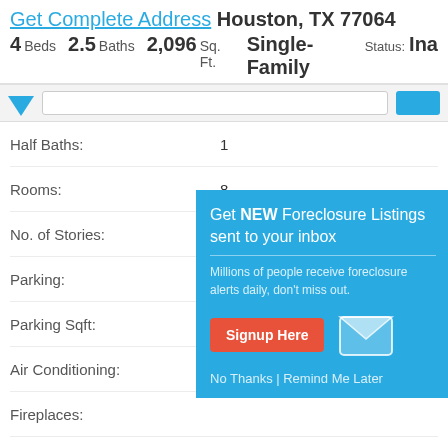Get Complete Address Houston, TX 77064
4 Beds  2.5 Baths  2,096 Sq. Ft.  Single-Family  Status: Ina
| Property Detail | Value |
| --- | --- |
| Half Baths: | 1 |
| Rooms: | 8 |
| No. of Stories: | 2 |
| Parking: |  |
| Parking Sqft: |  |
| Air Conditioning: |  |
| Fireplaces: |  |
| Exterior Wall Type: |  |
| Foundation Type: |  |
| Heating Type: |  |
| Land Area Sqft: | 5,501 |
| Year Built: | 2006 |
[Figure (infographic): Popup overlay with teal background showing 'Get NEW Foreclosure Listings sent to your inbox' message with Signup Here button, envelope icon, and No Thanks / Remind Me Later links]